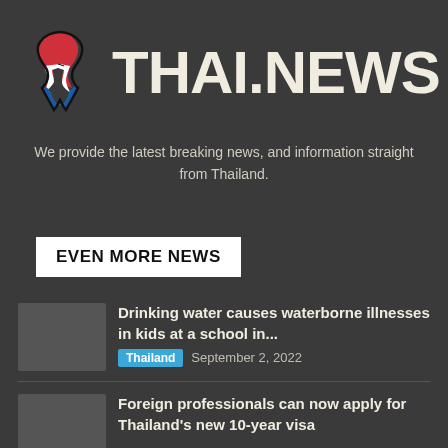THAI.NEWS
We provide the latest breaking news, and information straight from Thailand.
EVEN MORE NEWS
Drinking water causes waterborne illnesses in kids at a school in...
Thailand   September 2, 2022
Foreign professionals can now apply for Thailand's new 10-year visa